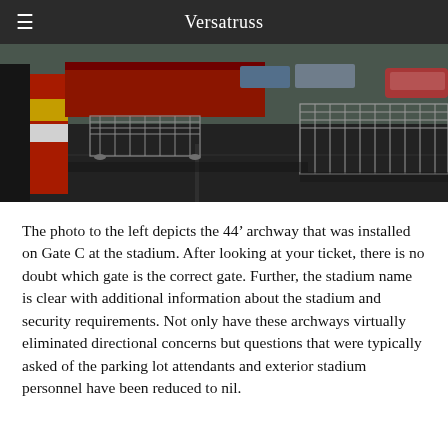Versatruss
[Figure (photo): Outdoor photo showing a stadium gate area with metal crowd-control barriers/fencing arranged on a dark asphalt surface. Red and white striped signage visible on the left. Cars and a red vehicle visible in the background.]
The photo to the left depicts the 44’ archway that was installed on Gate C at the stadium. After looking at your ticket, there is no doubt which gate is the correct gate. Further, the stadium name is clear with additional information about the stadium and security requirements. Not only have these archways virtually eliminated directional concerns but questions that were typically asked of the parking lot attendants and exterior stadium personnel have been reduced to nil.